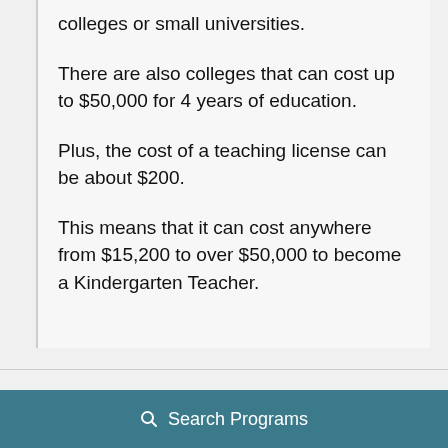colleges or small universities.
There are also colleges that can cost up to $50,000 for 4 years of education.
Plus, the cost of a teaching license can be about $200.
This means that it can cost anywhere from $15,200 to over $50,000 to become a Kindergarten Teacher.
Search Programs